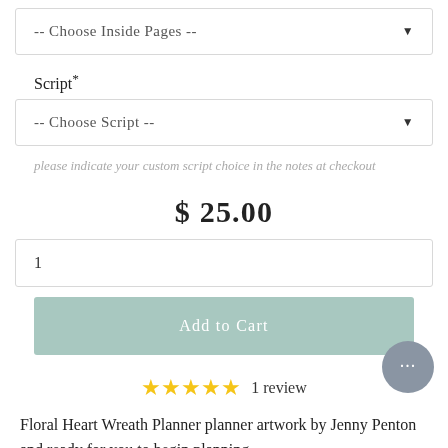[Figure (screenshot): Dropdown box with '-- Choose Inside Pages --' placeholder text and a down arrow]
Script*
[Figure (screenshot): Dropdown box with '-- Choose Script --' placeholder text and a down arrow]
please indicate your custom script choice in the notes at checkout
$ 25.00
1
Add to Cart
1 review
Floral Heart Wreath Planner planner artwork by Jenny Penton and ready for you to begin planning